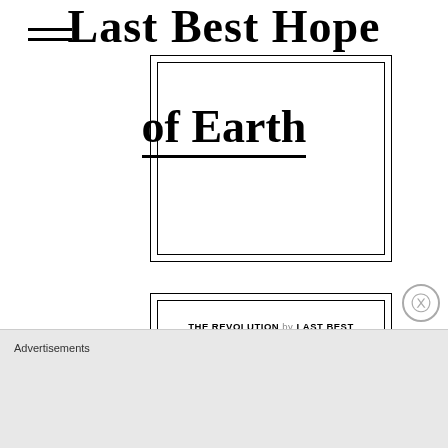Last Best Hope of Earth
A RADICAL POLITICAL EXPERIMENT
THE REVOLUTION by LAST BEST HOPE OF EARTH - JANUARY 30, 2016
Pennsylvania was the home of the “most radical ideas about politics and constitutional authority
Advertisements